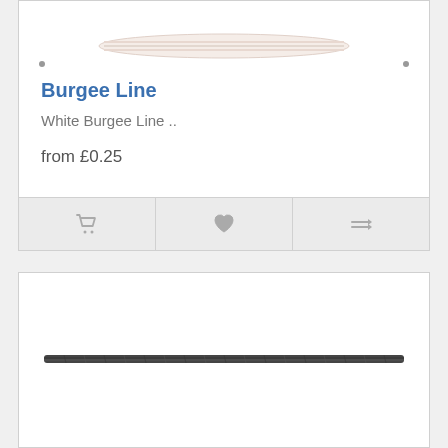[Figure (photo): White burgee line rope product image shown at top of first card]
Burgee Line
White  Burgee Line  ..
from £0.25
[Figure (photo): Dark/black rope or cord product image shown in the second product card below]